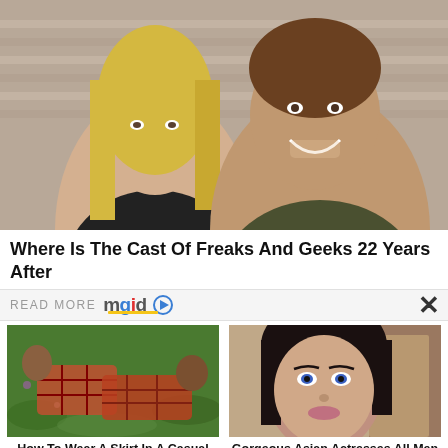[Figure (photo): Two young people sitting in bleachers — a blonde woman looking skeptical and a smiling young man in a black sleeveless shirt]
Where Is The Cast Of Freaks And Geeks 22 Years After
READ MORE mgid
[Figure (photo): Two people lying on grass wearing plaid/checkered outfits]
How To Wear A Skirt In A Casual Chic Way
[Figure (photo): Portrait of a beautiful Asian woman with dark hair and blue eyes]
Gorgeous Asian Actresses All Men Are Crazy About